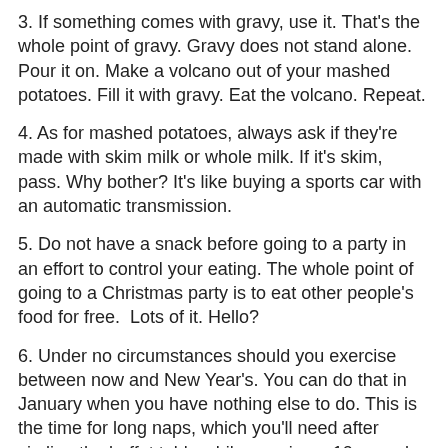3. If something comes with gravy, use it. That's the whole point of gravy. Gravy does not stand alone. Pour it on. Make a volcano out of your mashed potatoes. Fill it with gravy. Eat the volcano. Repeat.
4. As for mashed potatoes, always ask if they're made with skim milk or whole milk. If it's skim, pass. Why bother? It's like buying a sports car with an automatic transmission.
5. Do not have a snack before going to a party in an effort to control your eating. The whole point of going to a Christmas party is to eat other people's food for free.  Lots of it. Hello?
6. Under no circumstances should you exercise between now and New Year's. You can do that in January when you have nothing else to do. This is the time for long naps, which you'll need after circling the buffet table while carrying a 10-pound plate of food and that vat of eggnog.
7. If you come across something really good at a buffet table, like frosted Christmas cookies in the shape and size of Santa, position yourself near them and don't budge. Have as many as you can before becoming the center of attention.  They're like a beautiful